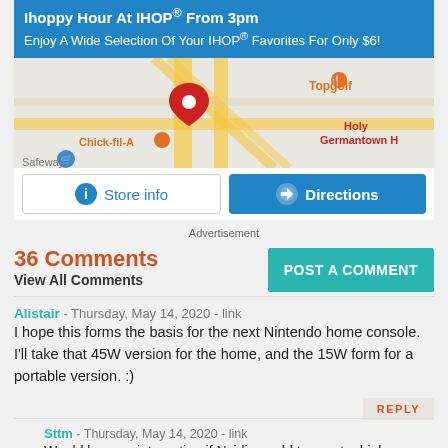[Figure (screenshot): IHOP advertisement with blue header showing 'Ihoppy Hour At IHOP® From 3pm', map showing location near Topgolf and Chick-fil-A, Store info and Directions buttons]
Advertisement
36 Comments
View All Comments
POST A COMMENT
Alistair - Thursday, May 14, 2020 - link
I hope this forms the basis for the next Nintendo home console. I'll take that 45W version for the home, and the 15W form for a portable version. :)
Sttm - Thursday, May 14, 2020 - link
Would be very interesting if Nvidia could turn out a high performance ARM/Ampere console chip for Nintendo. RTX Mario Kart!